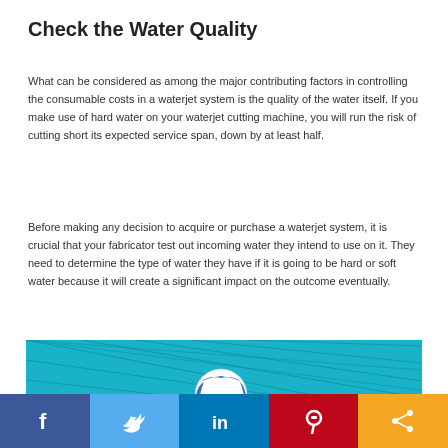Check the Water Quality
What can be considered as among the major contributing factors in controlling the consumable costs in a waterjet system is the quality of the water itself. If you make use of hard water on your waterjet cutting machine, you will run the risk of cutting short its expected service span, down by at least half.
Before making any decision to acquire or purchase a waterjet system, it is crucial that your fabricator test out incoming water they intend to use on it. They need to determine the type of water they have if it is going to be hard or soft water because it will create a significant impact on the outcome eventually.
[Figure (photo): Photo of a water polo ball in a pool with a net in the background, showing blue water and teal grid pattern]
[Figure (infographic): Social media sharing bar with Facebook, Twitter, LinkedIn, Pinterest, and share buttons]